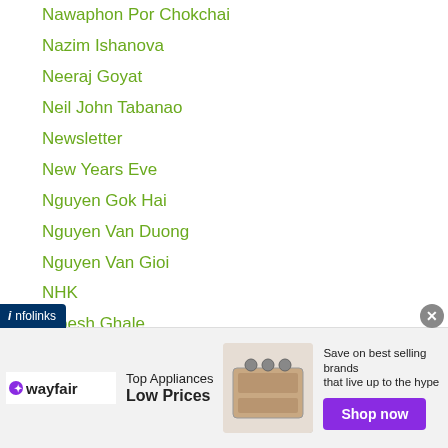Nawaphon Por Chokchai
Nazim Ishanova
Neeraj Goyat
Neil John Tabanao
Newsletter
New Years Eve
Nguyen Gok Hai
Nguyen Van Duong
Nguyen Van Gioi
NHK
Nibesh Ghale
Nick Frese
Nihito Arakawa
Nihito-arakawa
Nitta Gym
NKL
...athi Jovi
[Figure (other): Wayfair advertisement banner — Top Appliances Low Prices, with appliance image and Shop now button]